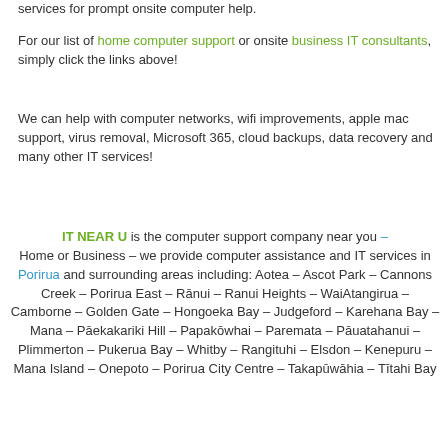services for prompt onsite computer help.
For our list of home computer support or onsite business IT consultants, simply click the links above!
We can help with computer networks, wifi improvements, apple mac support, virus removal, Microsoft 365, cloud backups, data recovery and many other IT services!
IT NEAR U is the computer support company near you – Home or Business – we provide computer assistance and IT services in Porirua and surrounding areas including: Aotea – Ascot Park – Cannons Creek – Porirua East – Rānui – Ranui Heights – WaiAtangirua – Camborne – Golden Gate – Hongoeka Bay – Judgeford – Karehana Bay – Mana – Pāekakariki Hill – Papakōwhai – Paremata – Pāuatahanui – Plimmerton – Pukerua Bay – Whitby – Rangituhi – Elsdon – Kenepuru – Mana Island – Onepoto – Porirua City Centre – Takapūwāhia – Tītahi Bay